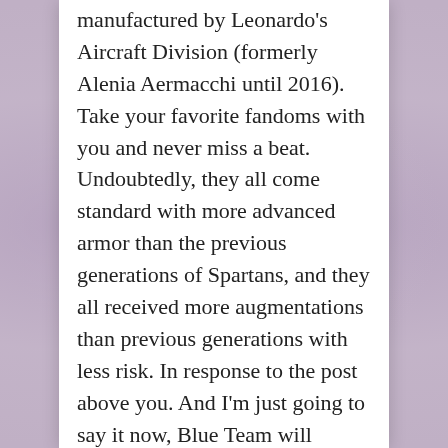manufactured by Leonardo's Aircraft Division (formerly Alenia Aermacchi until 2016). Take your favorite fandoms with you and never miss a beat. Undoubtedly, they all come standard with more advanced armor than the previous generations of Spartans, and they all received more augmentations than previous generations with less risk. In response to the post above you. And I'm just going to say it now, Blue Team will completely annihilate Osiris. Riding on Spartan's K2 400 Chassis Learn more Let us help Finding the right Class A RV chassis can prompt some questions. I think that Spartan IVs have the floor when it comes to healing. Being that they were meant to be expendable shock troopers, yet managed